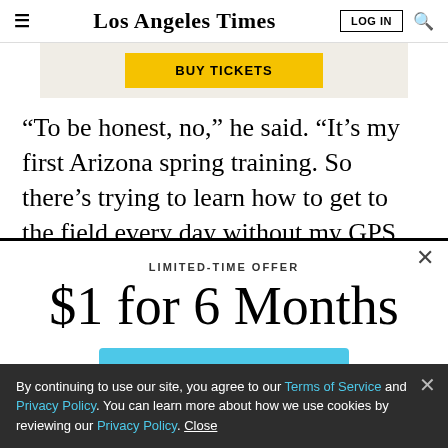Los Angeles Times
[Figure (other): Yellow BUY TICKETS button on beige/tan ad banner background]
“To be honest, no,” he said. “It’s my first Arizona spring training. So there’s trying to learn how to get to the field every day without my GPS. Everything’s just new. But
LIMITED-TIME OFFER
$1 for 6 Months
SUBSCRIBE NOW
By continuing to use our site, you agree to our Terms of Service and Privacy Policy. You can learn more about how we use cookies by reviewing our Privacy Policy. Close